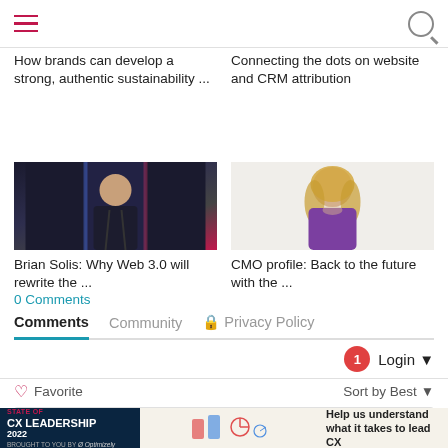[Figure (screenshot): Navigation bar with hamburger menu icon (three red lines) on the left and a search icon on the right]
How brands can develop a strong, authentic sustainability ...
Connecting the dots on website and CRM attribution
[Figure (photo): Photo of Brian Solis, a man in dark jacket with arms crossed in a corridor]
Brian Solis: Why Web 3.0 will rewrite the ...
[Figure (photo): Photo of a woman with blonde hair wearing a purple top]
CMO profile: Back to the future with the ...
0 Comments
Comments   Community   🔒 Privacy Policy
Login ▾
♡ Favorite
Sort by Best ▾
Start
[Figure (infographic): Ad banner: STATE OF CX LEADERSHIP 2022 brought to you by Optimizely — Help us understand what it takes to lead CX]